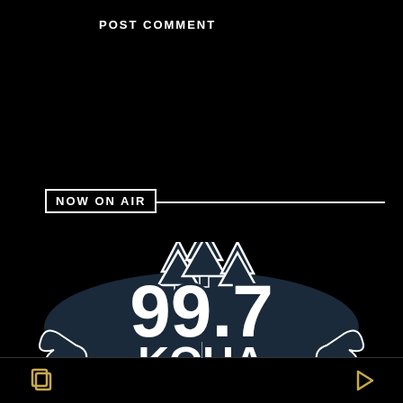POST COMMENT
NOW ON AIR
[Figure (logo): 99.7 KOUA radio station logo with pine trees silhouette on dark navy background with white lettering and decorative splash elements]